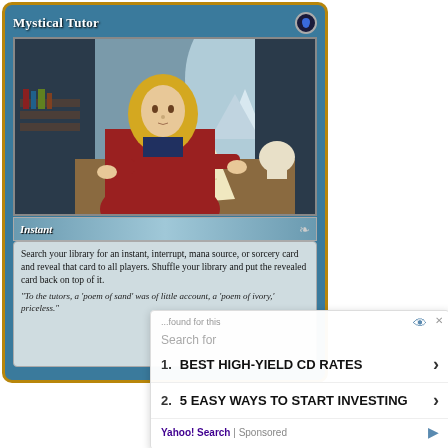[Figure (illustration): Magic: The Gathering card 'Mystical Tutor' showing a robed woman in a yellow headscarf reading from a large scroll or book at a desk, with a skull and window with a mountain vista in the background. Card type: Instant. Rules text: Search your library for an instant, interrupt, mana source, or sorcery card and reveal that card to all players. Shuffle your library and put the revealed card back on top of it. Flavor text: 'To the tutors, a poem of sand was of little account, a poem of ivory, priceless.']
Search for
1. BEST HIGH-YIELD CD RATES
2. 5 EASY WAYS TO START INVESTING
Yahoo! Search | Sponsored